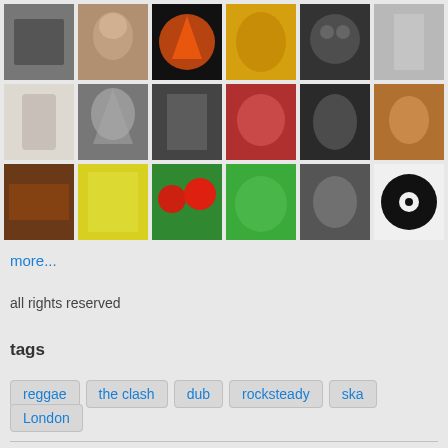[Figure (photo): Grid of 18 thumbnail photos arranged in 3 rows of 6, showing various subjects: animals, people, skulls, art, flowers, etc.]
more...
all rights reserved
tags
reggae
the clash
dub
rocksteady
ska
London
about
[Figure (photo): Partial view of an orange/red concert poster or artwork at the bottom of the page]